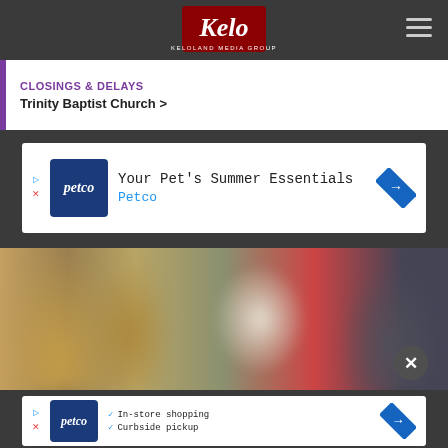[Figure (logo): Kelo Keloland Media Group logo on dark nav bar]
CLOSINGS & DELAYS
Trinity Baptist Church >
[Figure (photo): Petco advertisement banner: Your Pet's Summer Essentials - Petco]
[Figure (photo): Blurred photo of people with hard hat and firefighter gear near a red door]
[Figure (photo): Petco advertisement banner: In-store shopping, Curbside pickup]